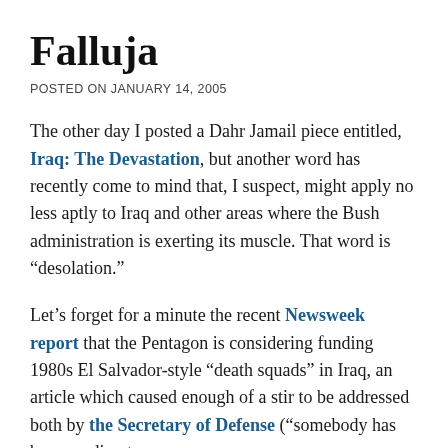Falluja
POSTED ON JANUARY 14, 2005
The other day I posted a Dahr Jamail piece entitled, Iraq: The Devastation, but another word has recently come to mind that, I suspect, might apply no less aptly to Iraq and other areas where the Bush administration is exerting its muscle. That word is “desolation.”
Let’s forget for a minute the recent Newsweek report that the Pentagon is considering funding 1980s El Salvador-style “death squads” in Iraq, an article which caused enough of a stir to be addressed both by the Secretary of Defense (“somebody has been reading too many spy